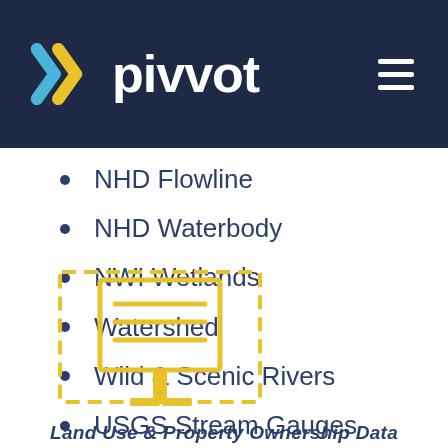[Figure (logo): Pivvot logo with blue and yellow chevron mark and white wordmark on dark navy header, with hamburger menu icon on right]
NHD Flowline
NHD Waterbody
NWI Wetlands
Watershed
Wild & Scenic Rivers
USGS Stream Gauges
[Figure (illustration): Yellow outline icon of a data/report board with dashed selection border around it]
Land Use & Property Ownership Data